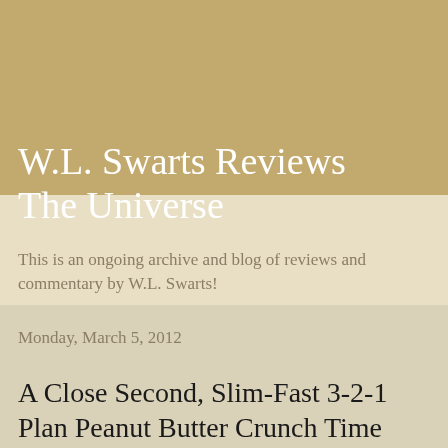W.L. Swarts Reviews The Universe
This is an ongoing archive and blog of reviews and commentary by W.L. Swarts!
Monday, March 5, 2012
A Close Second, Slim-Fast 3-2-1 Plan Peanut Butter Crunch Time Snack Bars Satisfy!